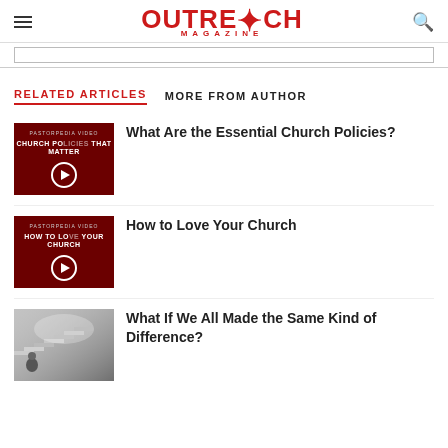Outreach Magazine
RELATED ARTICLES  MORE FROM AUTHOR
What Are the Essential Church Policies?
How to Love Your Church
What If We All Made the Same Kind of Difference?